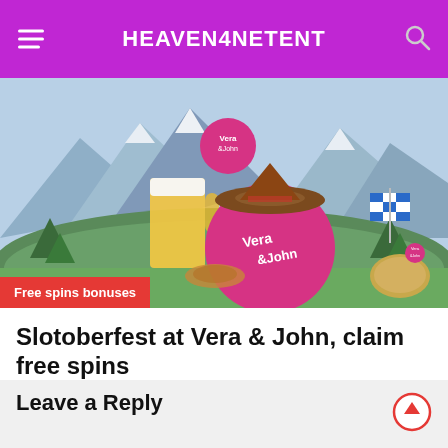HEAVEN4NETENT
[Figure (photo): Vera & John casino Oktoberfest themed promotional image with pink ball mascot wearing a Bavarian hat, beer mug, mountains and grass background, Bavarian flag]
Free spins bonuses
Slotoberfest at Vera & John, claim free spins
29/08/2018  0  445
Leave a Reply